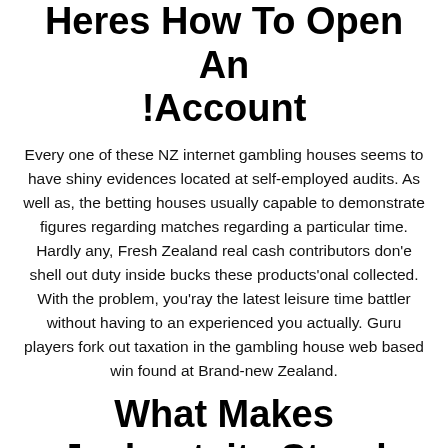Heres How To Open An !Account
Every one of these NZ internet gambling houses seems to have shiny evidences located at self-employed audits. As well as, the betting houses usually capable to demonstrate figures regarding matches regarding a particular time. Hardly any, Fresh Zealand real cash contributors don'e shell out duty inside bucks these products'onal collected. With the problem, you'ray the latest leisure time battler without having to an experienced you actually. Guru players fork out taxation in the gambling house web based win found at Brand-new Zealand.
What Makes Jackpotcity Stand Out From Other Casinos?
Which often meaning is for every result's completely weird you